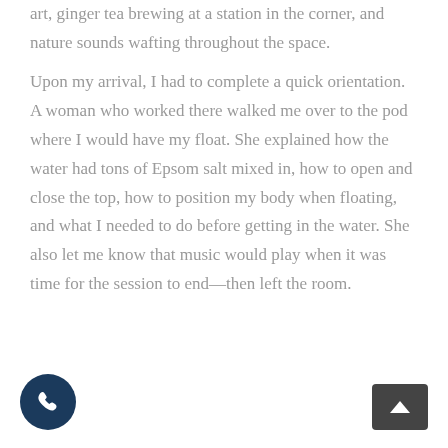art, ginger tea brewing at a station in the corner, and nature sounds wafting throughout the space.
Upon my arrival, I had to complete a quick orientation. A woman who worked there walked me over to the pod where I would have my float. She explained how the water had tons of Epsom salt mixed in, how to open and close the top, how to position my body when floating, and what I needed to do before getting in the water. She also let me know that music would play when it was time for the session to end—then left the room.